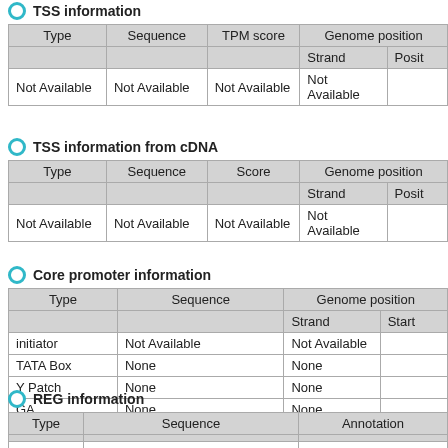TSS information
| Type | Sequence | TPM score | Genome position |  | Strand | Posit |
| --- | --- | --- | --- | --- | --- | --- |
| Not Available | Not Available | Not Available | Not Available |  |
TSS information from cDNA
| Type | Sequence | Score | Genome position |  | Strand | Posit |
| --- | --- | --- | --- | --- | --- | --- |
| Not Available | Not Available | Not Available | Not Available |  |
Core promoter information
| Type | Sequence | Genome position |  | Strand | Start |
| --- | --- | --- | --- | --- | --- |
| initiator | Not Available | Not Available |  |
| TATA Box | None | None |  |
| Y Patch | None | None |  |
| GA | None | None |  |
| Inr | None | None |  |
REG information
| Type | Sequence | Annotation |
| --- | --- | --- |
| REG | None | None |